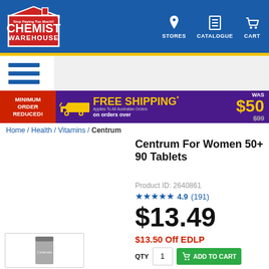[Figure (logo): Chemist Warehouse logo - red house shape with white text]
STORES  CATALOGUE  CART
[Figure (infographic): Free Shipping on orders over $50 banner - was $99. Minimum order reduced.]
Home / Health / Vitamins / Centrum
[Figure (photo): Centrum For Women 50+ 90 Tablets product box with 1/2 Price badge]
Centrum For Women 50+ 90 Tablets
Product ID: 2640861
★★★★★ 4.9 (191)
$13.49
$13.50 Off EDLP
[Figure (photo): Small thumbnail of Centrum product]
QTY  ADD TO CART